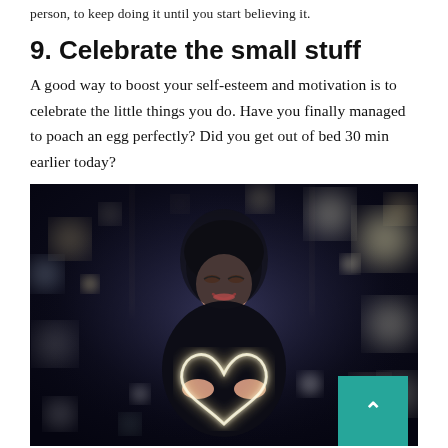person, to keep doing it until you start believing it.
9. Celebrate the small stuff
A good way to boost your self-esteem and motivation is to celebrate the little things you do. Have you finally managed to poach an egg perfectly? Did you get out of bed 30 min earlier today?
[Figure (photo): A young woman smiling and holding a glowing heart shape made of light, surrounded by bokeh lights in a dark urban setting.]